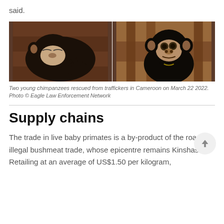said.
[Figure (photo): Two young chimpanzees rescued from traffickers in Cameroon. Left: a baby chimpanzee lying down asleep or sedated. Right: a young chimpanzee looking upward, between wooden bars.]
Two young chimpanzees rescued from traffickers in Cameroon on March 22 2022. Photo © Eagle Law Enforcement Network
Supply chains
The trade in live baby primates is a by-product of the roaring illegal bushmeat trade, whose epicentre remains Kinshasa. Retailing at an average of US$1.50 per kilogram,